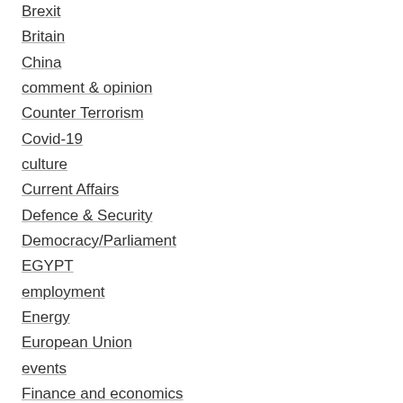Brexit
Britain
China
comment & opinion
Counter Terrorism
Covid-19
culture
Current Affairs
Defence & Security
Democracy/Parliament
EGYPT
employment
Energy
European Union
events
Finance and economics
Foreign Affairs
Free speech
Government